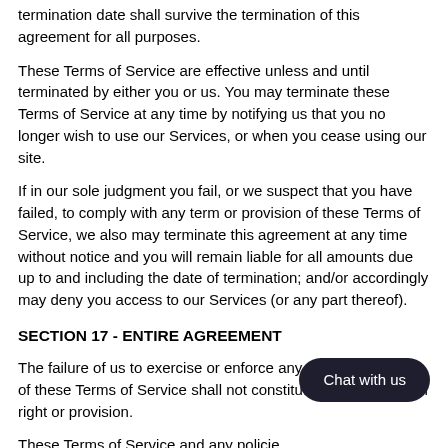termination date shall survive the termination of this agreement for all purposes.
These Terms of Service are effective unless and until terminated by either you or us. You may terminate these Terms of Service at any time by notifying us that you no longer wish to use our Services, or when you cease using our site.
If in our sole judgment you fail, or we suspect that you have failed, to comply with any term or provision of these Terms of Service, we also may terminate this agreement at any time without notice and you will remain liable for all amounts due up to and including the date of termination; and/or accordingly may deny you access to our Services (or any part thereof).
SECTION 17 - ENTIRE AGREEMENT
The failure of us to exercise or enforce any right or provision of these Terms of Service shall not constitute a waiver of such right or provision.
These Terms of Service and any policies posted by us on this site or in respect t constitutes the entire agreement and understanding between you and us and govern your use of the Service, superseding